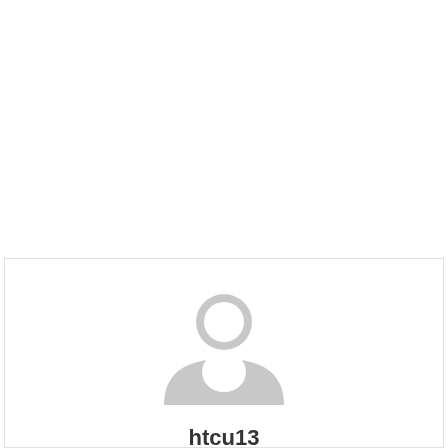[Figure (illustration): Generic user profile avatar icon in light gray showing a person silhouette (head circle and shoulders arc)]
htcu13